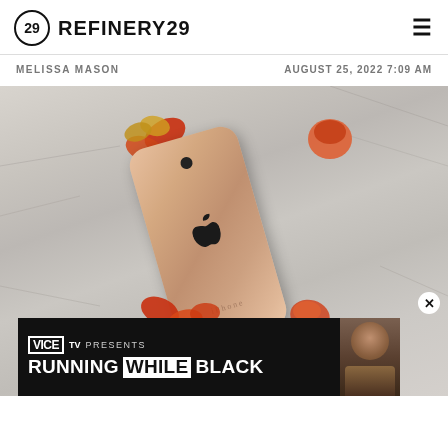REFINERY29
MELISSA MASON
AUGUST 25, 2022 7:09 AM
[Figure (photo): Rose gold iPhone lying on rumpled white fabric/bedsheet surrounded by orange and red flower petals. The phone is photographed from above at a slight angle showing its back with Apple logo.]
[Figure (screenshot): VICE TV advertisement banner: VICE TV PRESENTS / RUNNING WHILE BLACK, with a photo of a person on the right side. Dark background with white text.]